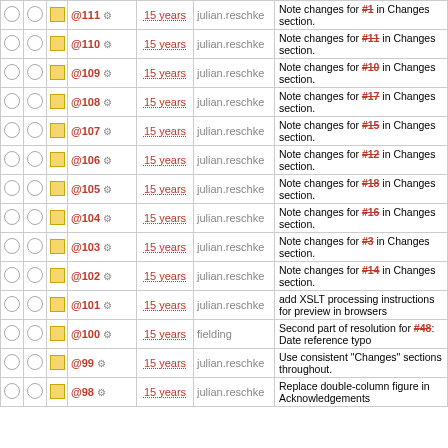|  |  |  | Rev | Age | Author | Log Message |
| --- | --- | --- | --- | --- | --- | --- |
| ○ | ○ | □ | @111 ⚙ | 15 years | julian.reschke | Note changes for #1 in Changes section. |
| ○ | ○ | □ | @110 ⚙ | 15 years | julian.reschke | Note changes for #11 in Changes section. |
| ○ | ○ | □ | @109 ⚙ | 15 years | julian.reschke | Note changes for #10 in Changes section. |
| ○ | ○ | □ | @108 ⚙ | 15 years | julian.reschke | Note changes for #17 in Changes section. |
| ○ | ○ | □ | @107 ⚙ | 15 years | julian.reschke | Note changes for #15 in Changes section. |
| ○ | ○ | □ | @106 ⚙ | 15 years | julian.reschke | Note changes for #12 in Changes section. |
| ○ | ○ | □ | @105 ⚙ | 15 years | julian.reschke | Note changes for #18 in Changes section. |
| ○ | ○ | □ | @104 ⚙ | 15 years | julian.reschke | Note changes for #16 in Changes section. |
| ○ | ○ | □ | @103 ⚙ | 15 years | julian.reschke | Note changes for #3 in Changes section. |
| ○ | ○ | □ | @102 ⚙ | 15 years | julian.reschke | Note changes for #14 in Changes section. |
| ○ | ○ | □ | @101 ⚙ | 15 years | julian.reschke | add XSLT processing instructions for preview in browsers |
| ○ | ○ | □ | @100 ⚙ | 15 years | fielding | Second part of resolution for #48: Date reference typo |
| ○ | ○ | □ | @99 ⚙ | 15 years | julian.reschke | Use consistent "Changes" sections throughout. |
| ○ | ○ | □ | @98 ⚙ | 15 years | julian.reschke | Replace double-column figure in Acknowledgements |